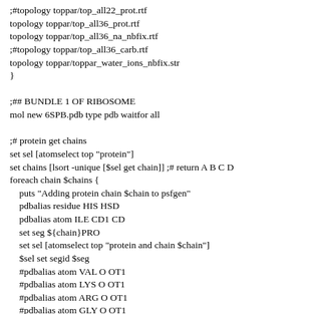;#topology toppar/top_all22_prot.rtf
topology toppar/top_all36_prot.rtf
topology toppar/top_all36_na_nbfix.rtf
;#topology toppar/top_all36_carb.rtf
topology toppar/toppar_water_ions_nbfix.str
}

;## BUNDLE 1 OF RIBOSOME
mol new 6SPB.pdb type pdb waitfor all

;# protein get chains
set sel [atomselect top "protein"]
set chains [lsort -unique [$sel get chain]] ;# return A B C D
foreach chain $chains {
    puts "Adding protein chain $chain to psfgen"
    pdbalias residue HIS HSD
    pdbalias atom ILE CD1 CD
    set seg ${chain}PRO
    set sel [atomselect top "protein and chain $chain"]
    $sel set segid $seg
    #pdbalias atom VAL O OT1
    #pdbalias atom LYS O OT1
    #pdbalias atom ARG O OT1
    #pdbalias atom GLY O OT1
    #pdbalias atom LYS O OT1